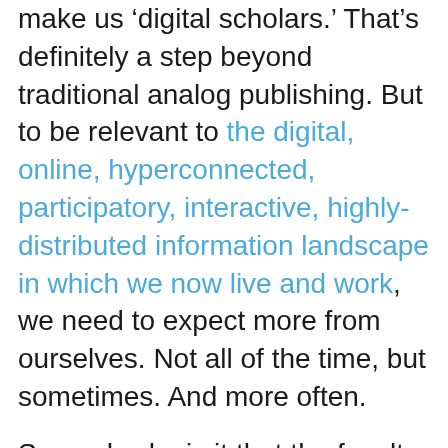make us 'digital scholars.' That's definitely a step beyond traditional analog publishing. But to be relevant to the digital, online, hyperconnected, participatory, interactive, highly-distributed information landscape in which we now live and work, we need to expect more from ourselves. Not all of the time, but sometimes. And more often.

Second, why is it that the faculty who ARE trying to be relevant in our new information landscape are the ones that always have to justify their work to those who are less responsive? Shouldn't it be